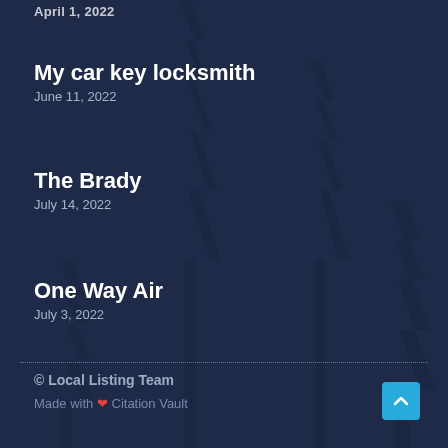April 1, 2022
My car key locksmith
June 11, 2022
The Brady
July 14, 2022
One Way Air
July 3, 2022
© Local Listing Team
Made with ❤ Citation Vault